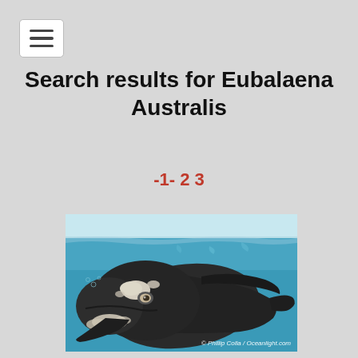[Figure (other): Menu/hamburger button icon in top-left corner]
Search results for Eubalaena Australis
-1- 2 3
[Figure (photo): Underwater photograph of a Southern Right Whale (Eubalaena australis) swimming toward the camera, showing its dark body with white callosities. The background is blue-green ocean water. Credit: © Phillip Colla / Oceanlight.com]